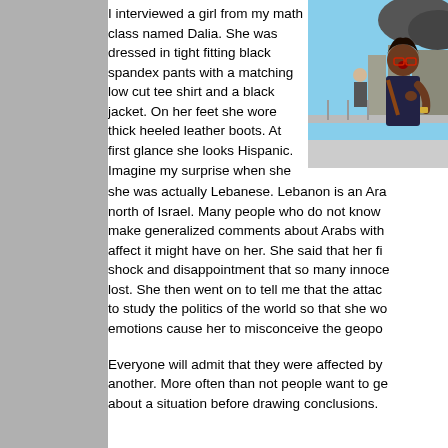I interviewed a girl from my math class named Dalia. She was dressed in tight fitting black spandex pants with a matching low cut tee shirt and a black jacket. On her feet she wore thick heeled leather boots. At first glance she looks Hispanic. Imagine my surprise when she was actually Lebanese. Lebanon is an Arab country north of Israel. Many people who do not know make generalized comments about Arabs with affect it might have on her. She said that her fi shock and disappointment that so many innoce lost. She then went on to tell me that the attac to study the politics of the world so that she wo emotions cause her to misconceive the geopo
[Figure (photo): A woman in a dark tank top with an expression of distress or shock, appearing to be outdoors in an urban environment with buildings and people visible in the background.]
Everyone will admit that they were affected by another. More often than not people want to ge about a situation before drawing conclusions.